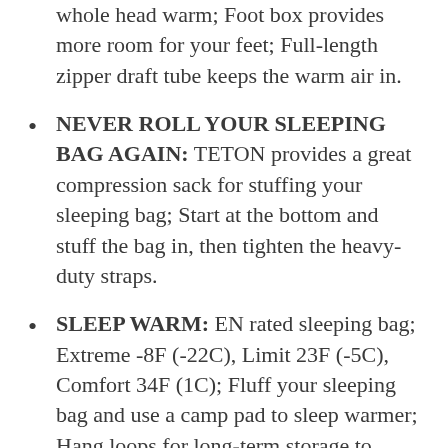whole head warm; Foot box provides more room for your feet; Full-length zipper draft tube keeps the warm air in.
NEVER ROLL YOUR SLEEPING BAG AGAIN: TETON provides a great compression sack for stuffing your sleeping bag; Start at the bottom and stuff the bag in, then tighten the heavy-duty straps.
SLEEP WARM: EN rated sleeping bag; Extreme -8F (-22C), Limit 23F (-5C), Comfort 34F (1C); Fluff your sleeping bag and use a camp pad to sleep warmer; Hang loops for long-term storage to maintain maximum loft.
TETON SPORTS PROMISE: Reach out to our AMAZING product support team if